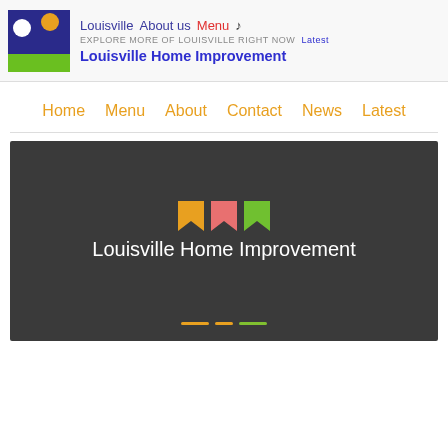Louisville  About us  Menu ♪
EXPLORE MORE OF LOUISVILLE RIGHT NOW  Latest
Louisville Home Improvement
Home  Menu  About  Contact  News  Latest
[Figure (screenshot): Dark hero banner with three bookmark-flag icons (orange, pink/red, green) above the text 'Louisville Home Improvement' on a dark gray background, with three colored dash indicators at the bottom.]